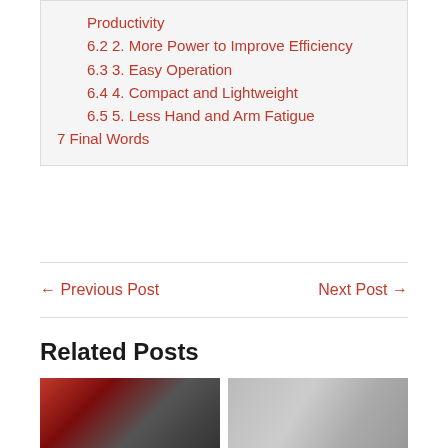Productivity
6.2 2. More Power to Improve Efficiency
6.3 3. Easy Operation
6.4 4. Compact and Lightweight
6.5 5. Less Hand and Arm Fatigue
7 Final Words
← Previous Post
Next Post →
Related Posts
[Figure (photo): Two product images side by side: a red and black vacuum/appliance on the left, and a grey/metallic handheld tool on the right]